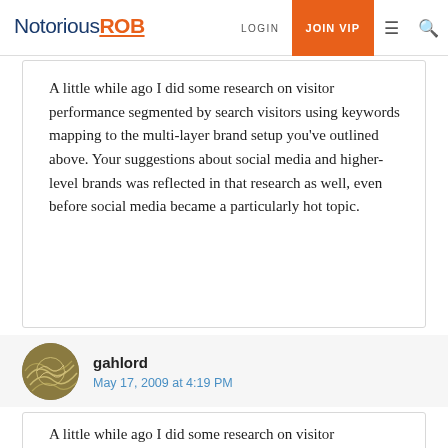NotoriousROB | LOGIN | JOIN VIP
A little while ago I did some research on visitor performance segmented by search visitors using keywords mapping to the multi-layer brand setup you've outlined above. Your suggestions about social media and higher-level brands was reflected in that research as well, even before social media became a particularly hot topic.
gahlord
May 17, 2009 at 4:19 PM
A little while ago I did some research on visitor